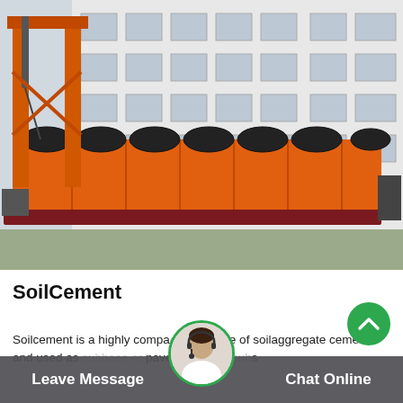[Figure (photo): Large orange industrial soil cement mixing machine (spiral/auger type) photographed outdoors in front of a multi-story industrial building. The machine is orange with a tall vertical frame on the left side and a long horizontal drum body with multiple spiral mixing elements visible on top. It sits on a dark red base frame.]
SoilCement
Soilcement is a highly compacted mixture of soilaggregate cement and used as subbase or pavement base. is
Leave Message   Chat Online